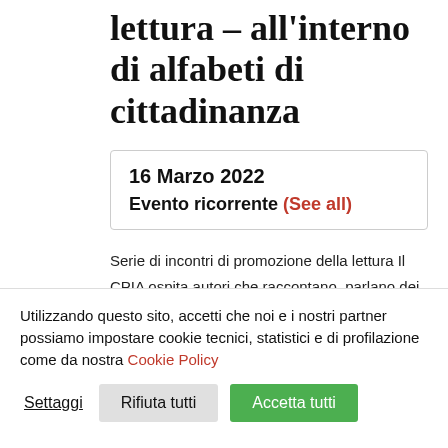lettura – all'interno di alfabeti di cittadinanza
16 Marzo 2022
Evento ricorrente (See all)
Serie di incontri di promozione della lettura Il CPIA ospita autori che raccontano, parlano dei loro libri. Ospiti nel 2021 sono stati: Laura Calosso, Francesca Serafini, Domenico Quirico,
Utilizzando questo sito, accetti che noi e i nostri partner possiamo impostare cookie tecnici, statistici e di profilazione come da nostra Cookie Policy